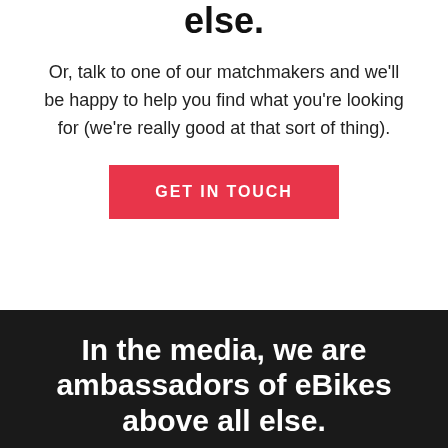else.
Or, talk to one of our matchmakers and we'll be happy to help you find what you're looking for (we're really good at that sort of thing).
GET IN TOUCH
In the media, we are ambassadors of eBikes above all else.